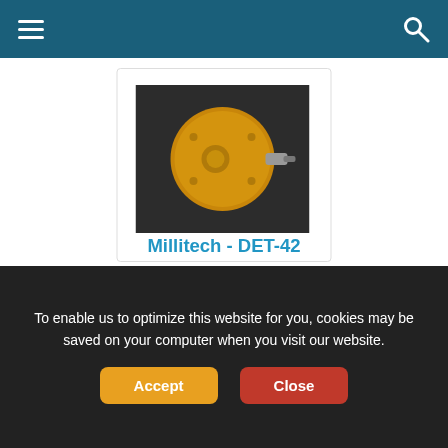Navigation bar with menu and search icons
[Figure (photo): Gold-colored RF detector component (Millitech DET-42) on dark background, showing a cylindrical metal housing with connector]
Millitech - DET-42
RF Detector from Millitech
Download Datasheet   Request Quote
Description: 18 to 26.5 GHz General Purpose Detector
Type: Zero Bias Schottky Detector
Polarity: Negative, Positive
To enable us to optimize this website for you, cookies may be saved on your computer when you visit our website.